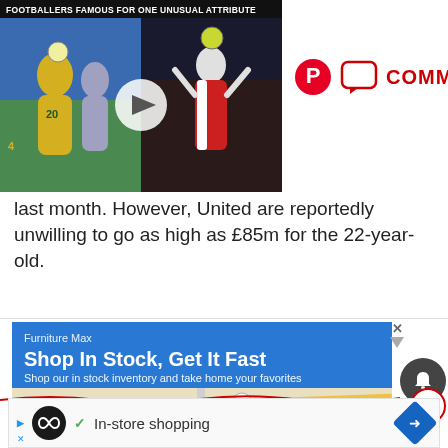[Figure (screenshot): Video thumbnail showing footballers with title 'Footballers Famous For One Unusual Attribute' with play button overlay]
[Figure (screenshot): Pinterest icon and Comments button in red]
last month. However, United are reportedly unwilling to go as high as £85m for the 22-year-old.
[Figure (screenshot): Google ad for Furniture Max: 'Shop In Stock, Get It Fast - Shop our in stock inventory and take home your favorites' with map showing McNair location near Sunrise Valley Dr]
[Figure (screenshot): Bottom ad strip with In-store shopping text, infinity logo, checkmark, and navigation arrow]